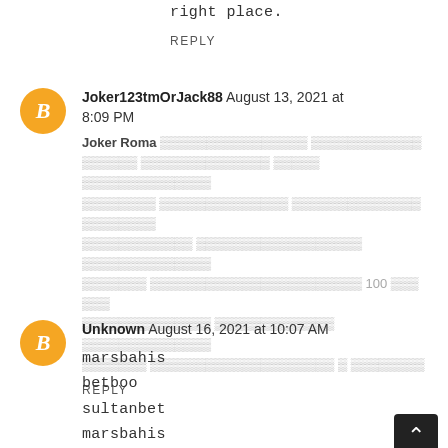right place.
REPLY
Joker123tmOrJack88 August 13, 2021 at 8:09 PM
Joker Roma [garbled Thai text] 100 [garbled Thai text]
REPLY
Unknown August 16, 2021 at 10:07 AM
marsbahis
betboo
sultanbet
marsbahis